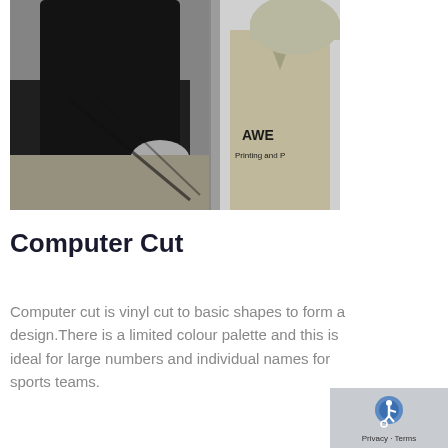[Figure (photo): Black and white photograph showing a person in a dark long-sleeve top handling dark fabric/clothing on a table, with a polo shirt visible on the right side bearing text 'AWE' and 'Printing and P...']
Computer Cut
Computer cut is vinyl cut to basic shapes to form a design.There is a limited colour palette and this is ideal for large numbers and individual names for sports teams.